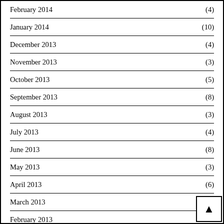February 2014 (4)
January 2014 (10)
December 2013 (4)
November 2013 (3)
October 2013 (5)
September 2013 (8)
August 2013 (3)
July 2013 (4)
June 2013 (8)
May 2013 (3)
April 2013 (6)
March 2013 (3)
February 2013
January 2013 (1)